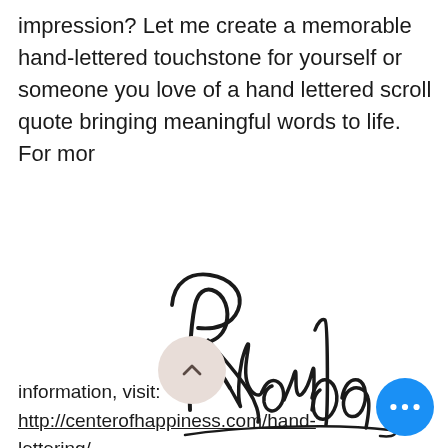impression? Let me create a memorable hand-lettered touchstone for yourself or someone you love of a hand lettered scroll quote bringing meaningful words to life. For mor
[Figure (illustration): Cursive handwritten signature reading 'Rhonda' in black ink on white background]
information, visit: http://centerofhappiness.com/hand-lettering/